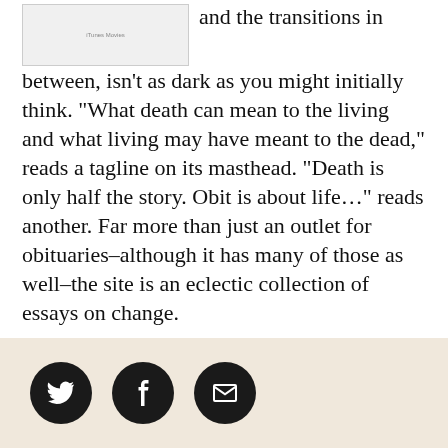[Figure (screenshot): Screenshot of iTunes Movies website interface showing movie thumbnails]
and the transitions in between, isn't as dark as you might initially think. “What death can mean to the living and what living may have meant to the dead,” reads a tagline on its masthead. “Death is only half the story. Obit is about life…” reads another. Far more than just an outlet for obituaries–although it has many of those as well–the site is an eclectic collection of essays on change.
▸ Read more about Obit Magazine
Obit Magazine Data
[Figure (infographic): Social media sharing icons: Twitter, Facebook, Email on a beige/tan footer bar]